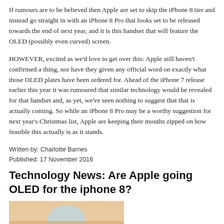If rumours are to be believed then Apple are set to skip the iPhone 8 tier and instead go straight in with an iPhone 8 Pro that looks set to be released towards the end of next year, and it is this handset that will feature the OLED (possibly even curved) screen.
HOWEVER, excited as we'd love to get over this: Apple still haven't confirmed a thing, nor have they given any official word on exactly what those OLED plates have been ordered for. Ahead of the iPhone 7 release earlier this year it was rumoured that similar technology would be revealed for that handset and, as yet, we've seen nothing to suggest that that is actually coming. So while an iPhone 8 Pro may be a worthy suggestion for next year's Christmas list, Apple are keeping their mouths zipped on how feasible this actually is as it stands.
Written by: Charlotte Barnes
Published: 17 November 2016
Technology News: Are Apple going OLED for the iphone 8?
[Figure (photo): Partial image of an iPhone or Apple device, cropped at bottom of page]